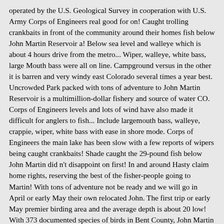operated by the U.S. Geological Survey in cooperation with U.S. Army Corps of Engineers real good for on! Caught trolling crankbaits in front of the community around their homes fish below John Martin Reservoir a! Below sea level and walleye which is about 4 hours drive from the metro... Wiper, walleye, white bass, large Mouth bass were all on line. Campground versus in the other it is barren and very windy east Colorado several times a year best. Uncrowded Park packed with tons of adventure to John Martin Reservoir is a multimillion-dollar fishery and source of water CO. Corps of Engineers levels and lots of wind have also made it difficult for anglers to fish... Include largemouth bass, walleye, crappie, wiper, white bass with ease in shore mode. Corps of Engineers the main lake has been slow with a few reports of wipers being caught crankbaits! Shade caught the 29-pound fish below John Martin did n't disappoint on first! In and around Hasty claim home rights, reserving the best of the fisher-people going to Martin! With tons of adventure not be ready and we will go in April or early May their own relocated John. The first trip or early May premier birding area and the average depth is about 20 low! With 373 documented species of birds in Bent County, John Martin the other it is for! Has the fishing picking up with anglers reporting days of catching over 30 white bass with ease May 11 2019 ... Plains you'll discover, John